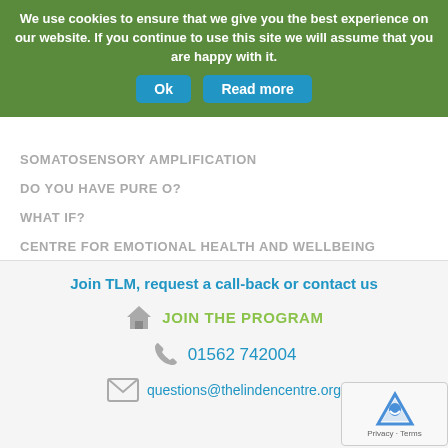We use cookies to ensure that we give you the best experience on our website. If you continue to use this site we will assume that you are happy with it.
SOMATOSENSORY AMPLIFICATION
DO YOU HAVE PURE O?
WHAT IF?
CENTRE FOR EMOTIONAL HEALTH AND WELLBEING
Join TLM, request a call-back or contact us
JOIN THE PROGRAM
01562 742004
questions@thelindencentre.org